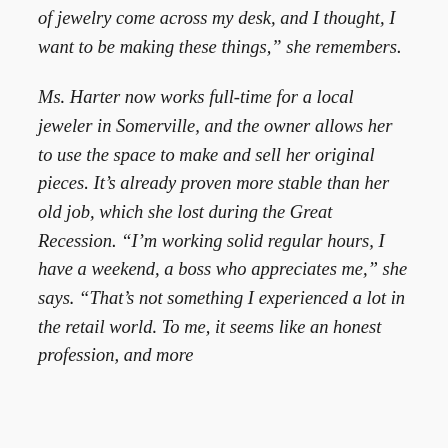of jewelry come across my desk, and I thought, I want to be making these things,” she remembers.
Ms. Harter now works full-time for a local jeweler in Somerville, and the owner allows her to use the space to make and sell her original pieces. It’s already proven more stable than her old job, which she lost during the Great Recession. “I’m working solid regular hours, I have a weekend, a boss who appreciates me,” she says. “That’s not something I experienced a lot in the retail world. To me, it seems like an honest profession, and more